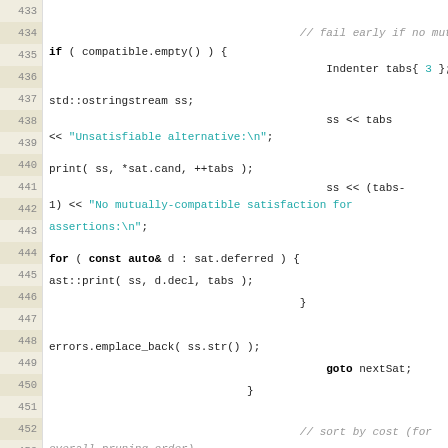[Figure (screenshot): Source code listing in C++ showing lines 433-453, with line numbers in a beige gutter on the left and code on the right. Code includes comments, control flow (if, for, goto), and standard library calls.]